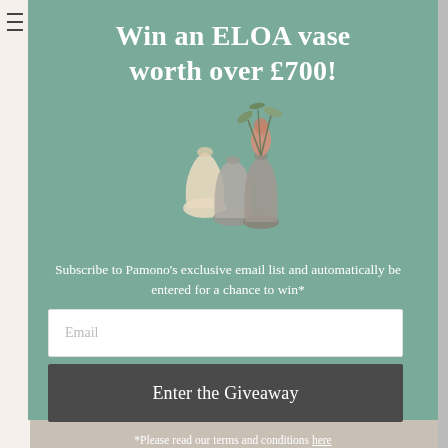Win an ELOA vase worth over £700!
[Figure (illustration): Three decorative ELOA glass vases in muted tones — one small cream/white teardrop, one medium smoky grey, one tall smoky grey with dried plant stems — arranged together on the teal-green background.]
Subscribe to Pamono's exclusive email list and automatically be entered for a chance to win*
Email
Enter the Giveaway
*Please read our terms and conditions here